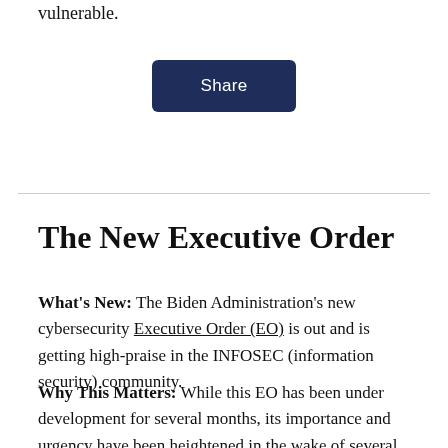vulnerable.
[Figure (other): Share button — dark navy blue rounded rectangle with white 'Share' text]
The New Executive Order
What's New: The Biden Administration's new cybersecurity Executive Order (EO) is out and is getting high-praise in the INFOSEC (information security) community.
Why This Matters: While this EO has been under development for several months, its importance and urgency have been heightened in the wake of several high-profile cyber events, including the SolarWinds